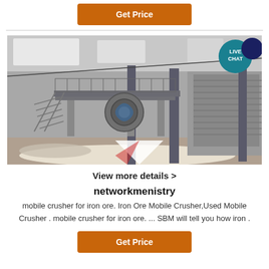[Figure (other): Orange 'Get Price' button at top of page]
[Figure (photo): Industrial interior photo showing a large crusher or mill machine on a raised platform with metal stairs inside a large warehouse/factory building with steel columns and ambient lighting. A 'LIVE CHAT' speech bubble icon is overlaid in the top-right corner.]
View more details >
networkmenistry
mobile crusher for iron ore. Iron Ore Mobile Crusher,Used Mobile Crusher . mobile crusher for iron ore. ... SBM will tell you how iron .
[Figure (other): Orange 'Get Price' button at bottom of page]